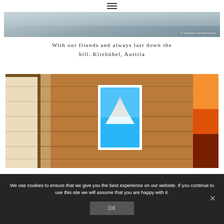≡
[Figure (photo): Snowy landscape photo with watermark '© Lemons and Anchovies']
With our friends and always last down the hill..Kitzbühel, Austria
[Figure (photo): Interior of a wooden cabin with a framed mountain photograph on the wall and a sunset strip visible on the right]
We use cookies to ensure that we give you the best experience on our website. If you continue to use this site we will assume that you are happy with it.
OK